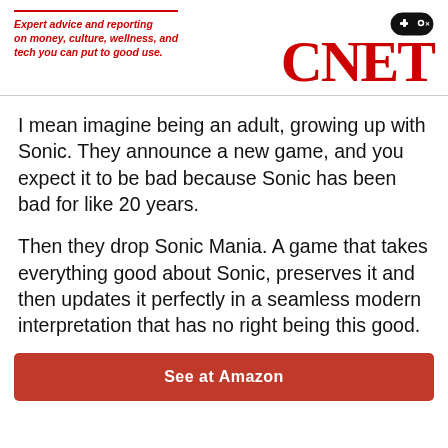Expert advice and reporting on money, culture, wellness, and tech you can put to good use. CNET
I mean imagine being an adult, growing up with Sonic. They announce a new game, and you expect it to be bad because Sonic has been bad for like 20 years.
Then they drop Sonic Mania. A game that takes everything good about Sonic, preserves it and then updates it perfectly in a seamless modern interpretation that has no right being this good.
See at Amazon